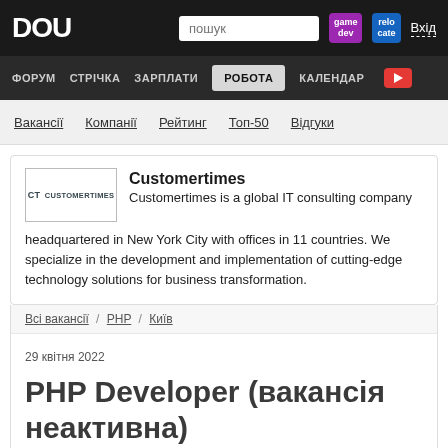DOU
ФОРУМ  СТРІЧКА  ЗАРПЛАТИ  РОБОТА  КАЛЕНДАР
Вакансії
Компанії
Рейтинг
Топ-50
Відгуки
Customertimes
Customertimes is a global IT consulting company headquartered in New York City with offices in 11 countries. We specialize in the development and implementation of cutting-edge technology solutions for business transformation.
Всі вакансії / PHP / Київ
29 квітня 2022
PHP Developer (вакансія неактивна)